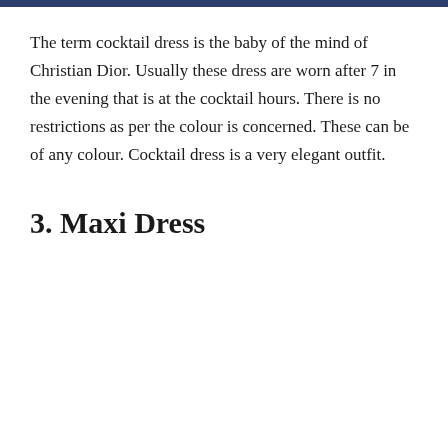The term cocktail dress is the baby of the mind of Christian Dior. Usually these dress are worn after 7 in the evening that is at the cocktail hours. There is no restrictions as per the colour is concerned. These can be of any colour. Cocktail dress is a very elegant outfit.
3. Maxi Dress